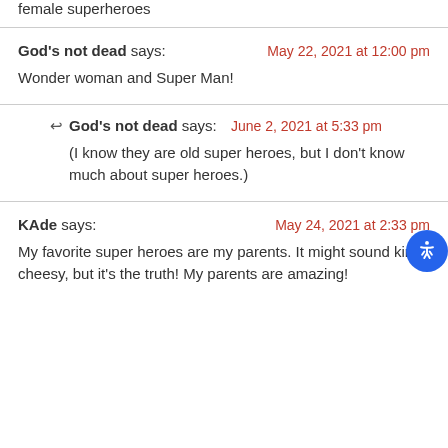female superheroes
God's not dead says:
May 22, 2021 at 12:00 pm
Wonder woman and Super Man!
God's not dead says:
June 2, 2021 at 5:33 pm
(I know they are old super heroes, but I don't know much about super heroes.)
KAde says:
May 24, 2021 at 2:33 pm
My favorite super heroes are my parents. It might sound kinda cheesy, but it's the truth! My parents are amazing!